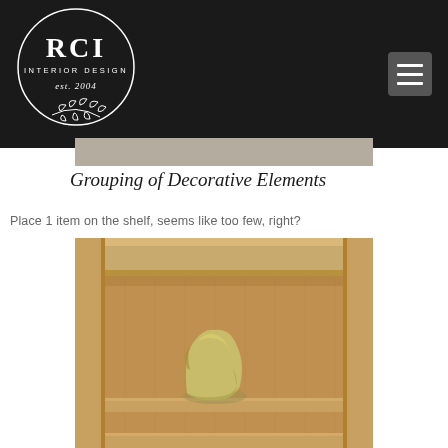[Figure (logo): RCI Interior Design logo — circular logo with text 'RCI' large, 'INTERIOR DESIGN' smaller, 'est. 2004' in script, and a botanical/leaf branch illustration, all in white on dark circular background]
Grouping of Decorative Elements
Place 1 item on the shelf, seems like too few, right?
[Figure (photo): Photo of a wooden oak bookcase shelf with a single yellowish-green abstract sculptural decorative object placed on the lower shelf. The wood is warm honey oak tone. The shelf appears mostly empty emphasizing the single item.]